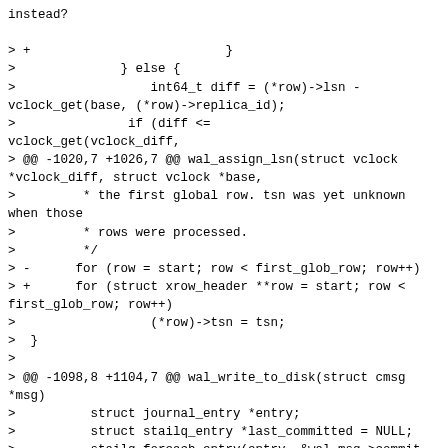instead?

> +                          }
>              } else {
>                  int64_t diff = (*row)->lsn - vclock_get(base, (*row)->replica_id);
>               if (diff <=  vclock_get(vclock_diff,
> @@ -1020,7 +1026,7 @@ wal_assign_lsn(struct vclock *vclock_diff, struct vclock *base,
>         * the first global row. tsn was yet unknown when those
>         * rows were processed.
>         */
> -      for (row = start; row < first_glob_row; row++)
> +      for (struct xrow_header **row = start; row < first_glob_row; row++)
>                  (*row)->tsn = tsn;
>  }
>
> @@ -1098,8 +1104,7 @@ wal_write_to_disk(struct cmsg *msg)
>          struct journal_entry *entry;
>          struct stailq_entry *last_committed = NULL;
>          stailq_foreach_entry(entry, &wal_msg->commit, fifo) {
> -          wal_assign_lsn(&vclock_diff, &writer->vclock,
> -                         entry->rows, entry->rows + entry->n_rows);